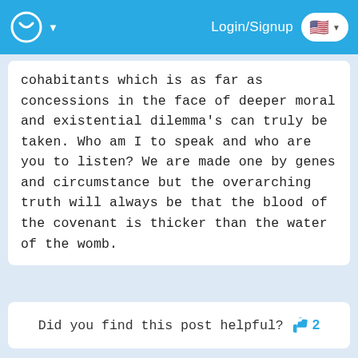Login/Signup
cohabitants which is as far as concessions in the face of deeper moral and existential dilemma's can truly be taken. Who am I to speak and who are you to listen? We are made one by genes and circumstance but the overarching truth will always be that the blood of the covenant is thicker than the water of the womb.
Did you find this post helpful? 👍 2
JK8287
March 1st, 2016 4:00pm
Every religion has its own merits, and I'm of